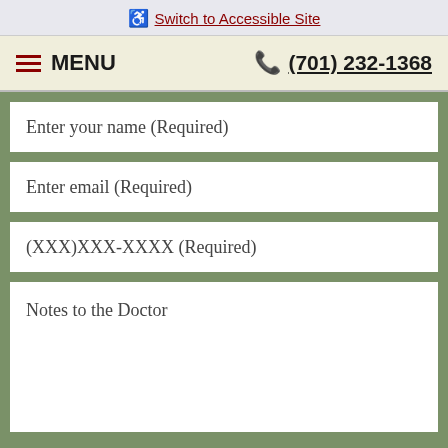Switch to Accessible Site
MENU   (701) 232-1368
Enter your name (Required)
Enter email (Required)
(XXX)XXX-XXXX (Required)
Notes to the Doctor
Please do not submit any Protected Health Information (PHI)